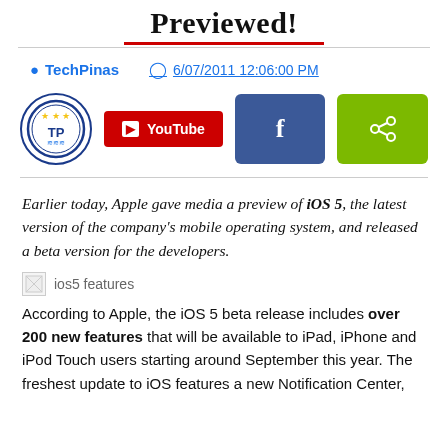Previewed!
TechPinas   6/07/2011 12:06:00 PM
[Figure (logo): TechPinas circular logo, YouTube button, Facebook share button, green share button]
Earlier today, Apple gave media a preview of iOS 5, the latest version of the company's mobile operating system, and released a beta version for the developers.
[Figure (photo): Broken image placeholder labeled 'ios5 features']
According to Apple, the iOS 5 beta release includes over 200 new features that will be available to iPad, iPhone and iPod Touch users starting around September this year. The freshest update to iOS features a new Notification Center,